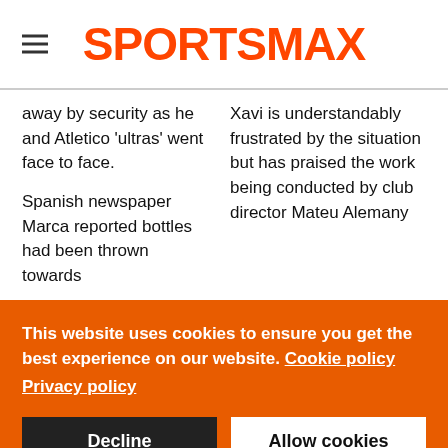SPORTSMAX
away by security as he and Atletico 'ultras' went face to face.

Spanish newspaper Marca reported bottles had been thrown towards
Xavi is understandably frustrated by the situation but has praised the work being conducted by club director Mateu Alemany
This website uses cookies to ensure you get the best experience on our website. Cookie policy
Privacy policy
Decline
Allow cookies